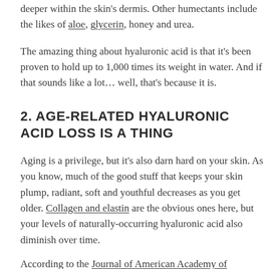deeper within the skin's dermis. Other humectants include the likes of aloe, glycerin, honey and urea.
The amazing thing about hyaluronic acid is that it's been proven to hold up to 1,000 times its weight in water. And if that sounds like a lot… well, that's because it is.
2. AGE-RELATED HYALURONIC ACID LOSS IS A THING
Aging is a privilege, but it's also darn hard on your skin. As you know, much of the good stuff that keeps your skin plump, radiant, soft and youthful decreases as you get older. Collagen and elastin are the obvious ones here, but your levels of naturally-occurring hyaluronic acid also diminish over time.
According to the Journal of American Academy of